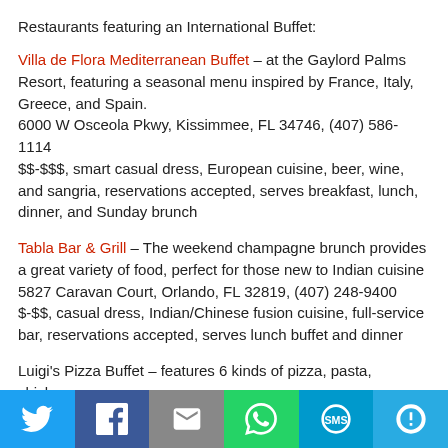Restaurants featuring an International Buffet:
Villa de Flora Mediterranean Buffet – at the Gaylord Palms Resort, featuring a seasonal menu inspired by France, Italy, Greece, and Spain.
6000 W Osceola Pkwy, Kissimmee, FL 34746, (407) 586-1114
$$-$$$, smart casual dress, European cuisine, beer, wine, and sangria, reservations accepted, serves breakfast, lunch, dinner, and Sunday brunch
Tabla Bar & Grill – The weekend champagne brunch provides a great variety of food, perfect for those new to Indian cuisine
5827 Caravan Court, Orlando, FL 32819, (407) 248-9400
$-$$, casual dress, Indian/Chinese fusion cuisine, full-service bar, reservations accepted, serves lunch buffet and dinner
Luigi's Pizza Buffet – features 6 kinds of pizza, pasta, chicken,
[Figure (infographic): Social sharing bar with Twitter, Facebook, Email, WhatsApp, SMS, and More buttons]